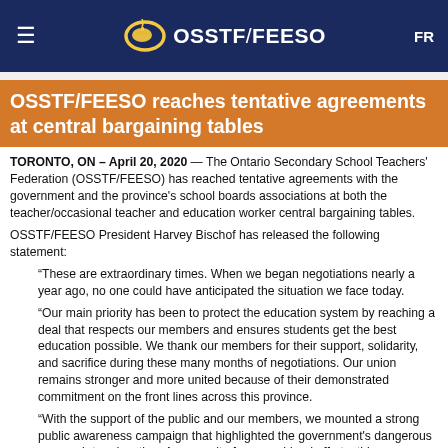≡  OSSTF/FEESO  FR
OSSTF/FEESO reaches tentative agreements at central bargaining tables
TORONTO, ON – April 20, 2020 — The Ontario Secondary School Teachers' Federation (OSSTF/FEESO) has reached tentative agreements with the government and the province's school boards associations at both the teacher/occasional teacher and education worker central bargaining tables.
OSSTF/FEESO President Harvey Bischof has released the following statement:
“These are extraordinary times. When we began negotiations nearly a year ago, no one could have anticipated the situation we face today.
“Our main priority has been to protect the education system by reaching a deal that respects our members and ensures students get the best education possible. We thank our members for their support, solidarity, and sacrifice during these many months of negotiations. Our union remains stronger and more united because of their demonstrated commitment on the front lines across this province.
“With the support of the public and our members, we mounted a strong public awareness campaign that highlighted the government’s dangerous approach to education. As a result of our combined efforts, this government, although early in its term and holding a majority, was pushed back from some of its most egregious proposals.
“While this tentative agreement does not satisfy all of our concerns, we